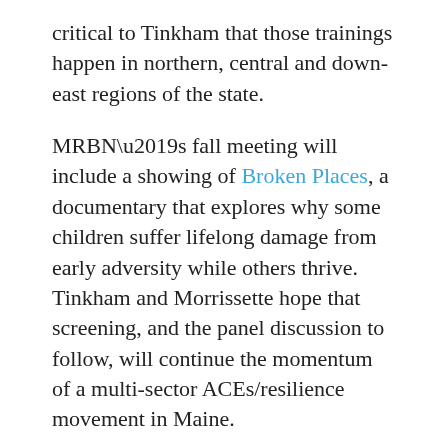critical to Tinkham that those trainings happen in northern, central and down-east regions of the state.
MRBN's fall meeting will include a showing of Broken Places, a documentary that explores why some children suffer lifelong damage from early adversity while others thrive. Tinkham and Morrissette hope that screening, and the panel discussion to follow, will continue the momentum of a multi-sector ACEs/resilience movement in Maine.
“None of us can do it alone,” says Tinkham. “We need to work alongside each other to be part of the solution.”